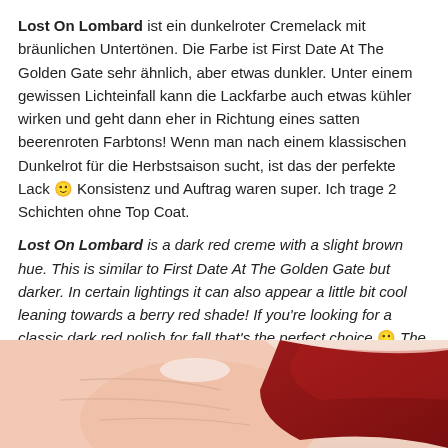Lost On Lombard ist ein dunkelroter Cremelack mit bräunlichen Untertönen. Die Farbe ist First Date At The Golden Gate sehr ähnlich, aber etwas dunkler. Unter einem gewissen Lichteinfall kann die Lackfarbe auch etwas kühler wirken und geht dann eher in Richtung eines satten beerenroten Farbtons! Wenn man nach einem klassischen Dunkelrot für die Herbstsaison sucht, ist das der perfekte Lack 🙂 Konsistenz und Auftrag waren super. Ich trage 2 Schichten ohne Top Coat.
Lost On Lombard is a dark red creme with a slight brown hue. This is similar to First Date At The Golden Gate but darker. In certain lightings it can also appear a little bit cool leaning towards a berry red shade! If you're looking for a classic dark red polish for fall that's the perfect choice 🙂 The consistency was great and very easy to work with. This is 2 coats without Top Coat.
[Figure (photo): Close-up photo of fingernails painted in a dark red nail polish color, showing the nail and fingertip detail against a light background.]